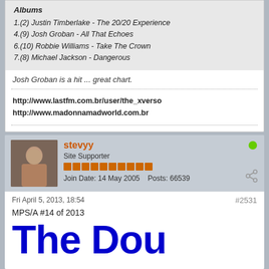Albums
1.(2) Justin Timberlake - The 20/20 Experience
4.(9) Josh Groban - All That Echoes
6.(10) Robbie Williams - Take The Crown
7.(8) Michael Jackson - Dangerous
Josh Groban is a hit ... great chart.
http://www.lastfm.com.br/user/the_xverso
http://www.madonnamadworld.com.br
stevyy
Site Supporter
Join Date: 14 May 2005   Posts: 66539
Fri April 5, 2013, 18:54
#2531
MPS/A #14 of 2013
The Dou...